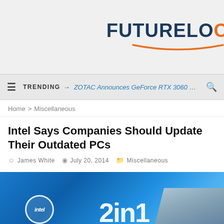[Figure (logo): FutureLook website logo with 'FUTURE' in dark navy and 'LOC' in orange, with orange underline arc]
≡  TRENDING → ZOTAC Announces GeForce RTX 3060 Ti...  🔍
Home > Miscellaneous
Intel Says Companies Should Update Their Outdated PCs
James White  July 20, 2014  Miscellaneous
[Figure (photo): Intel booth photo with large blue banner showing '2 in 1' text and Intel logo, crowd visible in background]